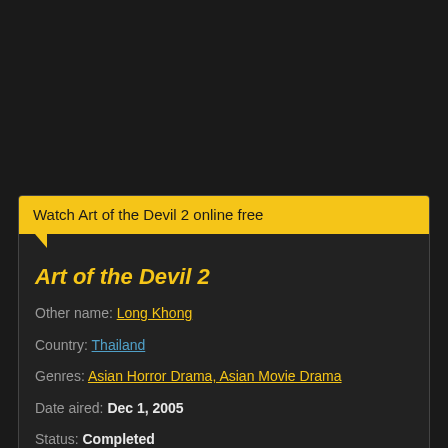Watch Art of the Devil 2 online free
Art of the Devil 2
Other name: Long Khong
Country: Thailand
Genres: Asian Horror Drama, Asian Movie Drama
Date aired: Dec 1, 2005
Status: Completed
Views: 92,381